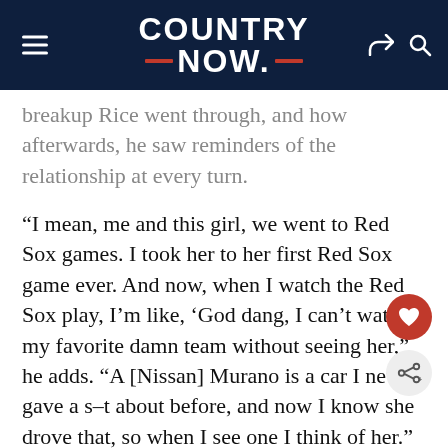COUNTRY NOW
breakup Rice went through, and how afterwards, he saw reminders of the relationship at every turn.
“I mean, me and this girl, we went to Red Sox games. I took her to her first Red Sox game ever. And now, when I watch the Red Sox play, I’m like, ‘God dang, I can’t watch my favorite damn team without seeing her,” he adds. “A [Nissan] Murano is a car I never gave a s–t about before, and now I know she drove that, so when I see one I think of her.”